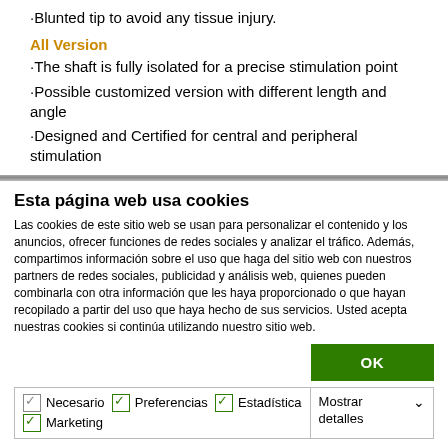·Blunted tip to avoid any tissue injury.
All Version
·The shaft is fully isolated for a precise stimulation point
·Possible customized version with different length and angle
·Designed and Certified for central and peripheral stimulation
Esta página web usa cookies
Las cookies de este sitio web se usan para personalizar el contenido y los anuncios, ofrecer funciones de redes sociales y analizar el tráfico. Además, compartimos información sobre el uso que haga del sitio web con nuestros partners de redes sociales, publicidad y análisis web, quienes pueden combinarla con otra información que les haya proporcionado o que hayan recopilado a partir del uso que haya hecho de sus servicios. Usted acepta nuestras cookies si continúa utilizando nuestro sitio web.
OK
Necesario  Preferencias  Estadística  Marketing  Mostrar detalles